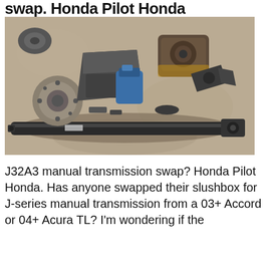swap. Honda Pilot Honda
[Figure (photo): Automotive parts laid out on a concrete floor including transmission components, driveshaft, brake rotor, suspension parts, and other J-series manual transmission swap parts]
J32A3 manual transmission swap? Honda Pilot Honda. Has anyone swapped their slushbox for J-series manual transmission from a 03+ Accord or 04+ Acura TL? I'm wondering if the